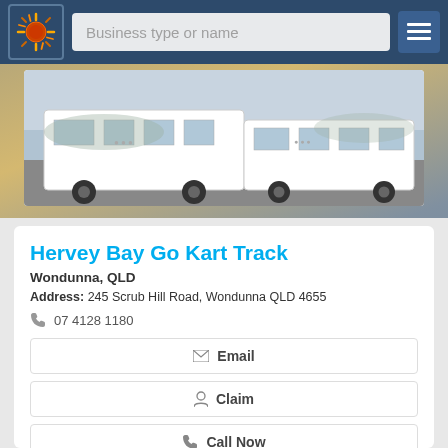Business type or name
[Figure (photo): White minibuses/vans parked near a waterfront beach area]
Hervey Bay Go Kart Track
Wondunna, QLD
Address: 245 Scrub Hill Road, Wondunna QLD 4655
07 4128 1180
Email
Claim
Call Now